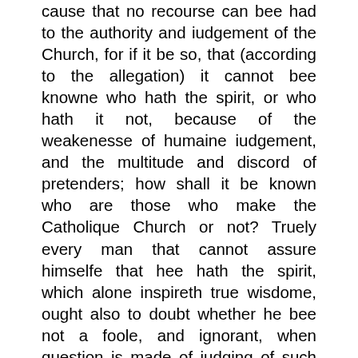cause that no recourse can bee had to the authority and iudgement of the Church, for if it be so, that (according to the allegation) it cannot bee knowne who hath the spirit, or who hath it not, because of the weakenesse of humaine iudgement, and the multitude and discord of pretenders; how shall it be known who are those who make the Catholique Church or not? Truely every man that cannot assure himselfe that hee hath the spirit, which alone inspireth true wisdome, ought also to doubt whether he bee not a foole, and ignorant, when question is made of iudging of such things which belong to the spirit. And since it belō geth not to fooles to iudge